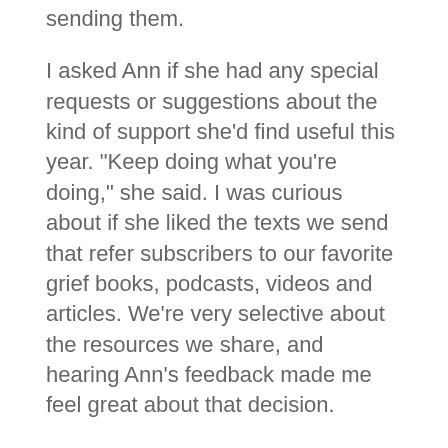sending them.
I asked Ann if she had any special requests or suggestions about the kind of support she'd find useful this year. "Keep doing what you're doing," she said. I was curious about if she liked the texts we send that refer subscribers to our favorite grief books, podcasts, videos and articles. We're very selective about the resources we share, and hearing Ann's feedback made me feel great about that decision.
"Early on I received a text message letting me know about a TedTalk by Nora McInerny," Ann shared. "It really resonated with me. I thought that was beyond the...